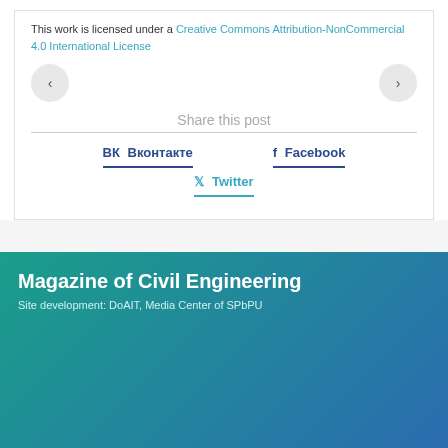This work is licensed under a Creative Commons Attribution-NonCommercial 4.0 International License
[Figure (other): Navigation arrows (left and right) for browsing posts]
Share this post
ВКонтакте
Facebook
Twitter
Magazine of Civil Engineering
Site development: DoAIT, Media Center of SPbPU